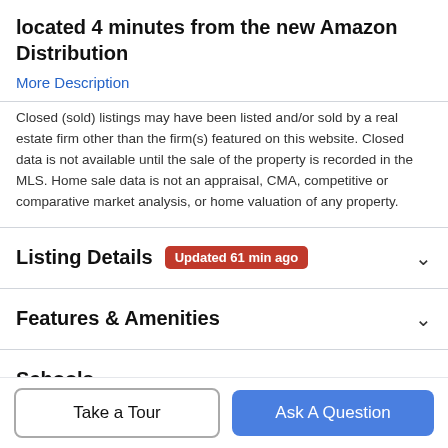located 4 minutes from the new Amazon Distribution
More Description
Closed (sold) listings may have been listed and/or sold by a real estate firm other than the firm(s) featured on this website. Closed data is not available until the sale of the property is recorded in the MLS. Home sale data is not an appraisal, CMA, competitive or comparative market analysis, or home valuation of any property.
Listing Details  Updated 61 min ago
Features & Amenities
Schools
Payment Calculator